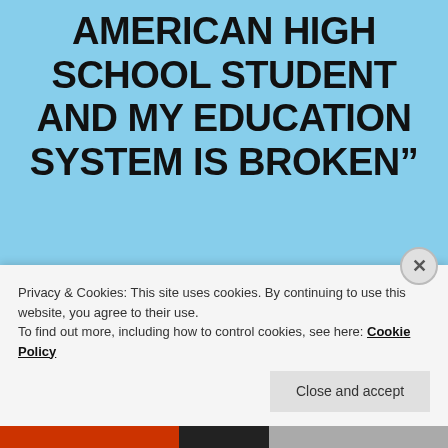AMERICAN HIGH SCHOOL STUDENT AND MY EDUCATION SYSTEM IS BROKEN”
Pingback: A Swiss Perspective: How to Break Out of the Prison of Perfectionism | Youngchange-Bestchange
Privacy & Cookies: This site uses cookies. By continuing to use this website, you agree to their use. To find out more, including how to control cookies, see here: Cookie Policy
Close and accept